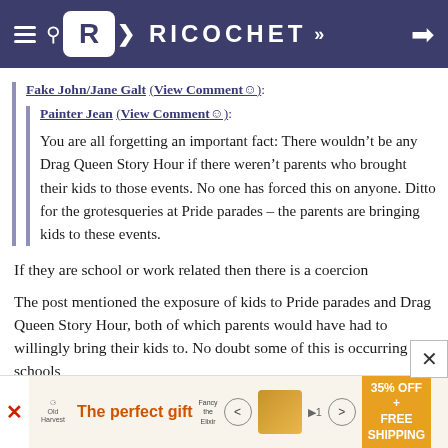RICOCHET
Fake John/Jane Galt (View Comment☺):
Painter Jean (View Comment☺):
You are all forgetting an important fact: There wouldn’t be any Drag Queen Story Hour if there weren’t parents who brought their kids to those events. No one has forced this on anyone. Ditto for the grotesqueries at Pride parades – the parents are bringing kids to these events.
If they are school or work related then there is a coercion
The post mentioned the exposure of kids to Pride parades and Drag Queen Story Hour, both of which parents would have had to willingly bring their kids to. No doubt some of this is occurring at schools
[Figure (screenshot): Advertisement banner: The perfect gift, 35% OFF + FREE SHIPPING]